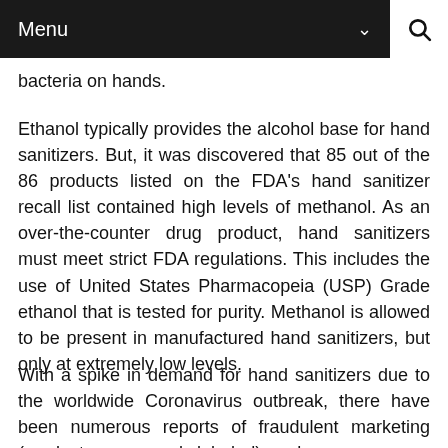Menu
bacteria on hands.
Ethanol typically provides the alcohol base for hand sanitizers. But, it was discovered that 85 out of the 86 products listed on the FDA's hand sanitizer recall list contained high levels of methanol. As an over-the-counter drug product, hand sanitizers must meet strict FDA regulations. This includes the use of United States Pharmacopeia (USP) Grade ethanol that is tested for purity. Methanol is allowed to be present in manufactured hand sanitizers, but only at extremely low levels.
With a spike in demand for hand sanitizers due to the worldwide Coronavirus outbreak, there have been numerous reports of fraudulent marketing (products erroneously labeled), and